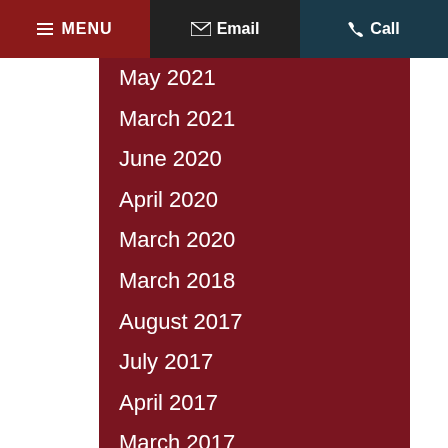≡ MENU   ✉ Email   ☎ Call
May 2021
March 2021
June 2020
April 2020
March 2020
March 2018
August 2017
July 2017
April 2017
March 2017
February 2017